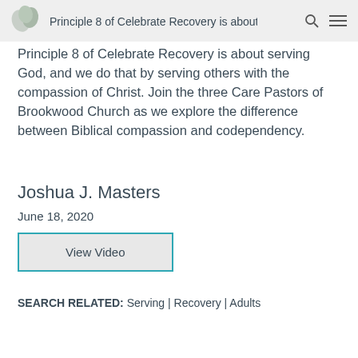Principle 8 of Celebrate Recovery is about
Principle 8 of Celebrate Recovery is about serving God, and we do that by serving others with the compassion of Christ. Join the three Care Pastors of Brookwood Church as we explore the difference between Biblical compassion and codependency.
Joshua J. Masters
June 18, 2020
View Video
SEARCH RELATED: Serving | Recovery | Adults